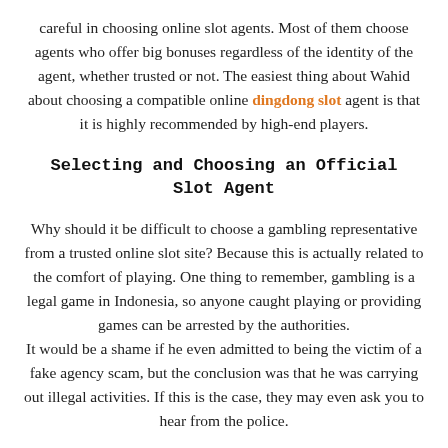careful in choosing online slot agents. Most of them choose agents who offer big bonuses regardless of the identity of the agent, whether trusted or not. The easiest thing about Wahid about choosing a compatible online dingdong slot agent is that it is highly recommended by high-end players.
Selecting and Choosing an Official Slot Agent
Why should it be difficult to choose a gambling representative from a trusted online slot site? Because this is actually related to the comfort of playing. One thing to remember, gambling is a legal game in Indonesia, so anyone caught playing or providing games can be arrested by the authorities. It would be a shame if he even admitted to being the victim of a fake agency scam, but the conclusion was that he was carrying out illegal activities. If this is the case, they may even ask you to hear from the police.